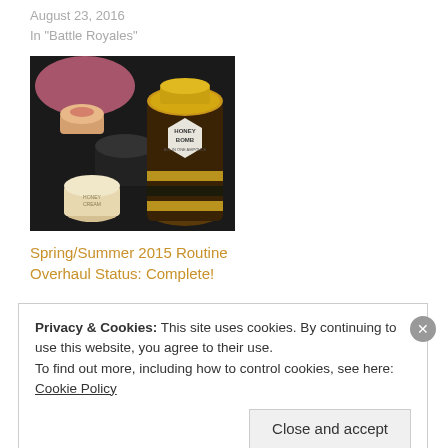August 23, 2016
In "Battle Royales"
[Figure (photo): Photo of skincare products including honey bomb jar and cream containers on dark background]
Spring/Summer 2015 Routine Overhaul Status: Complete!
April 27, 2015
In "AHAs"
Privacy & Cookies: This site uses cookies. By continuing to use this website, you agree to their use.
To find out more, including how to control cookies, see here: Cookie Policy
Close and accept